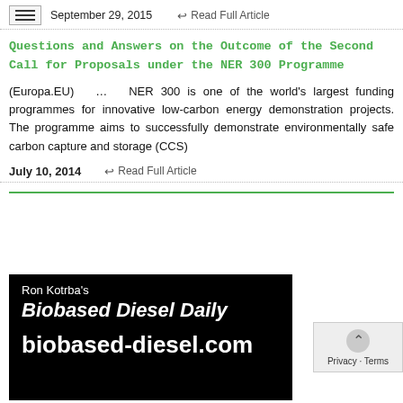September 29, 2015   ↩ Read Full Article
Questions and Answers on the Outcome of the Second Call for Proposals under the NER 300 Programme
(Europa.EU) … NER 300 is one of the world's largest funding programmes for innovative low-carbon energy demonstration projects. The programme aims to successfully demonstrate environmentally safe carbon capture and storage (CCS)
July 10, 2014   ↩ Read Full Article
[Figure (logo): Ron Kotrba's Biobased Diesel Daily advertisement banner with URL biobased-diesel.com on black background]